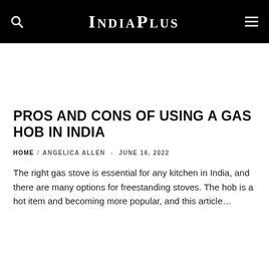IndiaPlus
PROS AND CONS OF USING A GAS HOB IN INDIA
HOME  ANGELICA ALLEN  -  JUNE 16, 2022
The right gas stove is essential for any kitchen in India, and there are many options for freestanding stoves. The hob is a hot item and becoming more popular, and this article…